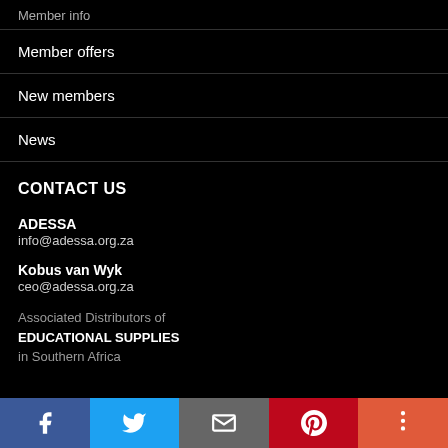Member info
Member offers
New members
News
CONTACT US
ADESSA
info@adessa.org.za
Kobus van Wyk
ceo@adessa.org.za
Associated Distributors of EDUCATIONAL SUPPLIES in Southern Africa
[Figure (other): Social sharing bar with Facebook, Twitter, Email, Pinterest, and More buttons]